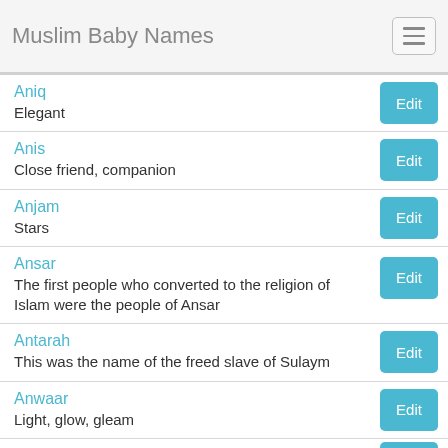Muslim Baby Names
Aniq
Elegant
Anis
Close friend, companion
Anjam
Stars
Ansar
The first people who converted to the religion of Islam were the people of Ansar
Antarah
This was the name of the freed slave of Sulaym
Anwaar
Light, glow, gleam
Anwar